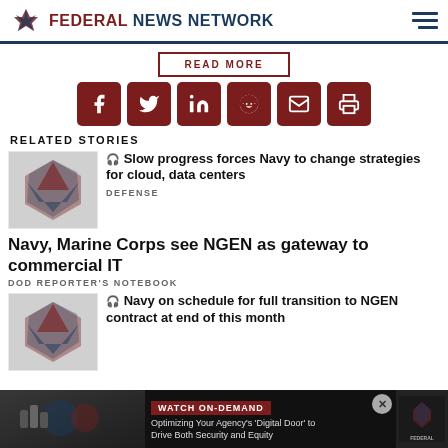FEDERAL NEWS NETWORK
READ MORE
[Figure (infographic): Social sharing buttons: Facebook, Twitter, LinkedIn, Reddit, Email, Print]
RELATED STORIES
[Figure (photo): Federal News Network logo thumbnail]
Slow progress forces Navy to change strategies for cloud, data centers
DEFENSE
Navy, Marine Corps see NGEN as gateway to commercial IT
DOD REPORTER'S NOTEBOOK
[Figure (photo): Federal News Network logo thumbnail]
Navy on schedule for full transition to NGEN contract at end of this month
[Figure (infographic): Ad banner: WATCH ON-DEMAND — Optimizing Your Agency's 'Digital Door' to Drive Both Security and Equity]